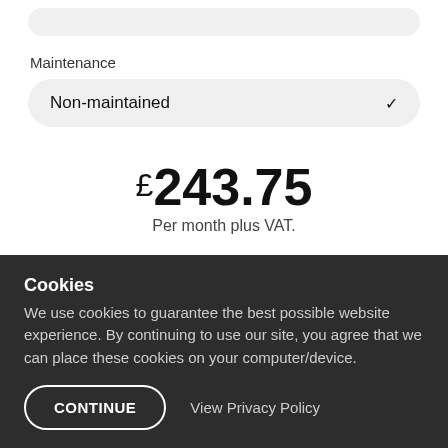Maintenance
Non-maintained
£243.75
Per month plus VAT.
Initial rental of £2,193.75 plus VAT. Followed by 47 monthly rentals of £243.75 plus VAT.
Cookies
We use cookies to guarantee the best possible website experience. By continuing to use our site, you agree that we can place these cookies on your computer/device.
CONTINUE
View Privacy Policy